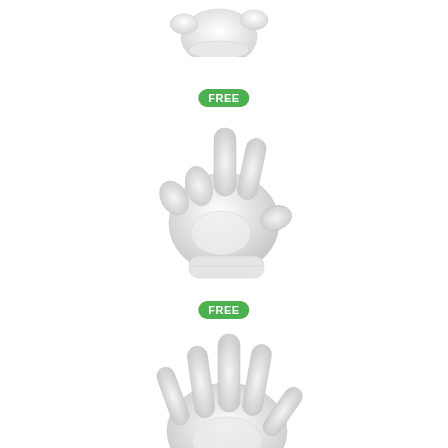[Figure (illustration): Cartoon-style white glove hand gesture (partially cropped at top) — cartoon Mickey-style glove]
[Figure (illustration): Green rounded rectangle badge with white bold text 'FREE']
[Figure (illustration): Cartoon-style white glove hand making a 'hang loose' or multi-finger gesture — center of page]
[Figure (illustration): Green rounded rectangle badge with white bold text 'FREE']
[Figure (illustration): Cartoon-style white glove open hand with all five fingers spread — lower portion of page, partially cropped at bottom]